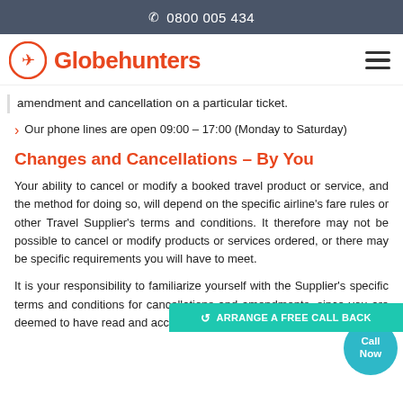☎ 0800 005 434
[Figure (logo): Globehunters logo with orange plane icon in circle and orange text]
amendment and cancellation on a particular ticket.
> Our phone lines are open 09:00 – 17:00 (Monday to Saturday)
Changes and Cancellations – By You
Your ability to cancel or modify a booked travel product or service, and the method for doing so, will depend on the specific airline's fare rules or other Travel Supplier's terms and conditions. It therefore may not be possible to cancel or modify products or services ordered, or there may be specific requirements you will have to meet.
It is your responsibility to familiarize yourself with the Supplier's specific terms and conditions for cancellations and amendments, since you are deemed to have read and accepted them at the time you